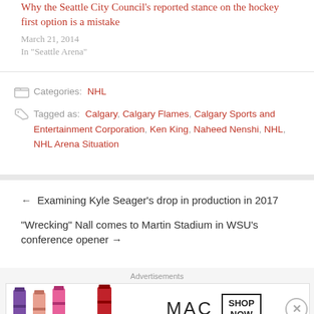Why the Seattle City Council’s reported stance on the hockey first option is a mistake
March 21, 2014
In “Seattle Arena”
Categories: NHL
Tagged as: Calgary, Calgary Flames, Calgary Sports and Entertainment Corporation, Ken King, Naheed Nenshi, NHL, NHL Arena Situation
← Examining Kyle Seager’s drop in production in 2017
“Wrecking” Nall comes to Martin Stadium in WSU’s conference opener →
[Figure (photo): MAC Cosmetics advertisement banner showing lipsticks in purple, peach, pink, and red colors alongside the MAC logo and a SHOP NOW box.]